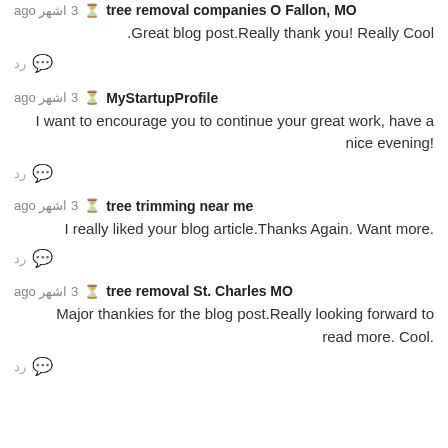tree removal companies O Fallon, MO · 3 اشهر ago
Great blog post.Really thank you! Really Cool.
رد
MyStartupProfile · 3 اشهر ago
I want to encourage you to continue your great work, have a nice evening!
رد
tree trimming near me · 3 اشهر ago
I really liked your blog article.Thanks Again. Want more.
رد
tree removal St. Charles MO · 3 اشهر ago
Major thankies for the blog post.Really looking forward to read more. Cool.
رد